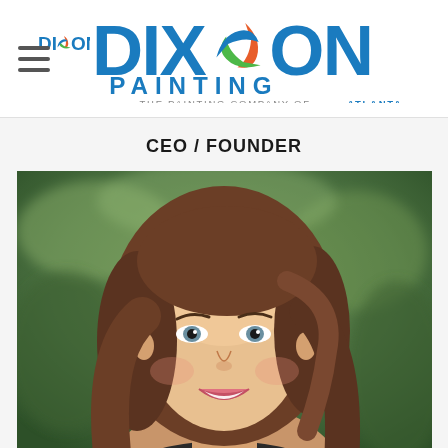[Figure (logo): Dixon Painting logo with swirl icon and tagline 'THE PAINTING COMPANY OF ATLANTA']
CEO / FOUNDER
[Figure (photo): Professional headshot of a woman with brown hair, smiling, against a blurred green foliage background]